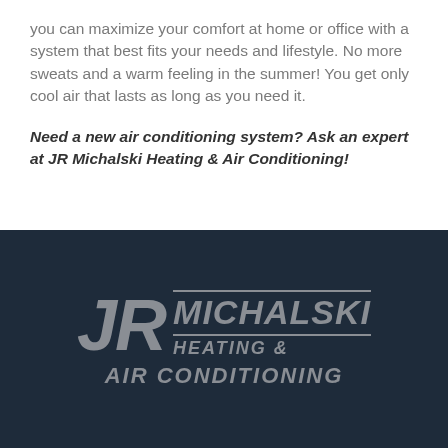you can maximize your comfort at home or office with a system that best fits your needs and lifestyle. No more sweats and a warm feeling in the summer! You get only cool air that lasts as long as you need it.
Need a new air conditioning system? Ask an expert at JR Michalski Heating & Air Conditioning!
[Figure (logo): JR Michalski Heating & Air Conditioning logo on dark navy background. Large italic 'JR' letters on the left, with 'MICHALSKI' in bold italic text with horizontal lines above and below, and 'HEATING & AIR CONDITIONING' below in bold italic, all in grey on dark navy.]